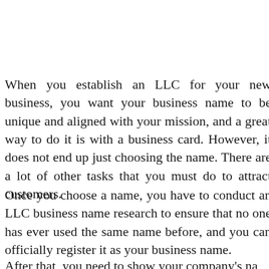When you establish an LLC for your new business, you want your business name to be unique and aligned with your mission, and a great way to do it is with a business card. However, it does not end up just choosing the name. There are a lot of other tasks that you must do to attract customers.
Once you choose a name, you have to conduct an LLC business name research to ensure that no one has ever used the same name before, and you can officially register it as your business name.
After that, you need to show your company's na...